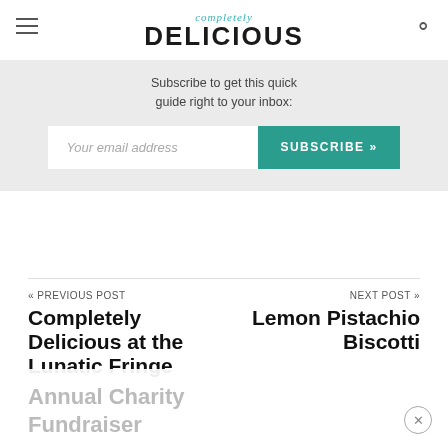completely DELICIOUS
Subscribe to get this quick guide right to your inbox:
Your email address  SUBSCRIBE »
« PREVIOUS POST
Completely Delicious at the Lunatic Fringe
NEXT POST »
Lemon Pistachio Biscotti
Annual Charity Fundraiser